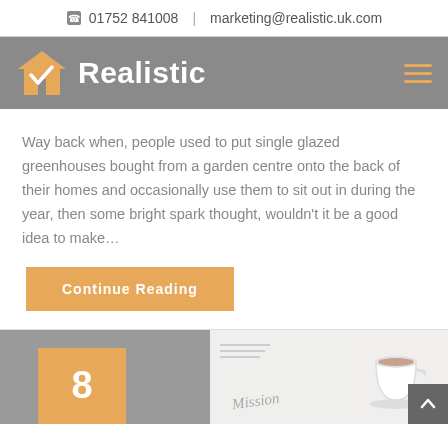01752 841008  |  marketing@realistic.uk.com
[Figure (logo): Realistic logo with house/checkmark icon and wordmark on grey navigation bar]
Way back when, people used to put single glazed greenhouses bought from a garden centre onto the back of their homes and occasionally use them to sit out in during the year, then some bright spark thought, wouldn't it be a good idea to make…
Continue Reading
[Figure (photo): Bottom strip showing partial blog post thumbnail with number 8 in orange box, a notepad with Mission written, and a cup of tea on light background]